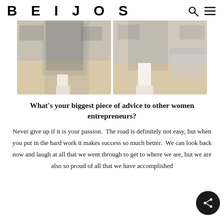BEIJOS
[Figure (photo): Two side-by-side photos of a woman in a floral dress: left photo shows her standing holding a white boot, right photo shows her seated putting on a white knee-high boot, with wood-floored interior background.]
What’s your biggest piece of advice to other women entrepreneurs?
Never give up if it is your passion.  The road is definitely not easy, but when you put in the hard work it makes success so much better.  We can look back now and laugh at all that we went through to get to where we are, but we are also so proud of all that we have accomplished